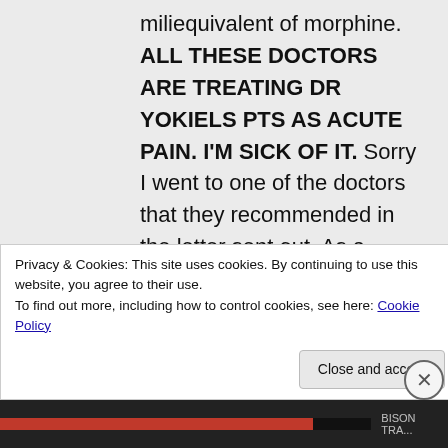miliequivalent of morphine. ALL THESE DOCTORS ARE TREATING DR YOKIELS PTS AS ACUTE PAIN. I'M SICK OF IT. Sorry I went to one of the doctors that they recommended in the letter sent out. As a matter of fact this Dr is in Dr Yokiel office. He is young & the most condescending & patronizing ASS I've ever met. I will not go back to that idiot. I have another appt
Privacy & Cookies: This site uses cookies. By continuing to use this website, you agree to their use.
To find out more, including how to control cookies, see here: Cookie Policy